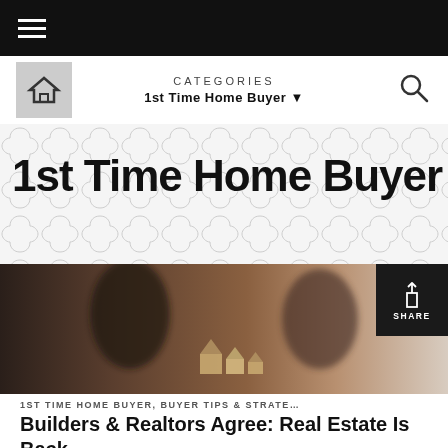≡
CATEGORIES
1st Time Home Buyer ▼
1st Time Home Buyer
[Figure (photo): Blurred photo of two people at a desk with small wooden house models in the foreground, representing real estate consultation]
SHARE
1ST TIME HOME BUYER, BUYER TIPS & STRATE…
Builders & Realtors Agree: Real Estate Is Back